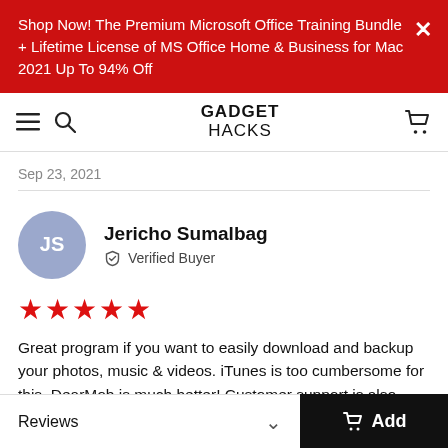Shop Now! The Premium Microsoft Office Training Bundle + Lifetime License of MS Office Home & Business for Mac 2021 Up To 94% Off
[Figure (screenshot): Gadget Hacks navigation bar with hamburger menu, search icon, GADGET HACKS logo, and cart icon]
Sep 23, 2021
[Figure (other): Reviewer avatar circle with initials JS, reviewer name Jericho Sumalbag, Verified Buyer badge]
★★★★★
Great program if you want to easily download and backup your photos, music & videos. iTunes is too cumbersome for this. DearMob is much better! Customer support is also great! I was confused about it at first and they helped me a great deal! This
Reviews   Add